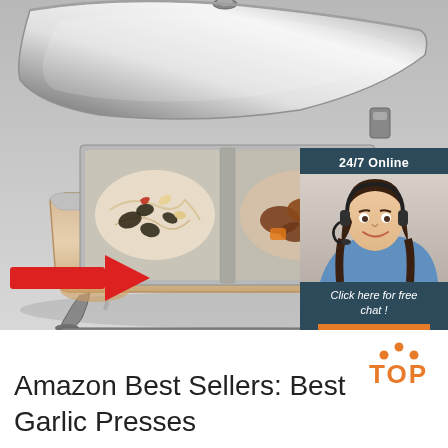[Figure (photo): A stainless steel chafing dish with lid open, containing two sections of food (noodles/black fungus dish and meat with broccoli), with a red arrow pointing to the heating element area. Gray background. In the upper right, an overlay widget shows a female customer service agent with headset, labeled '24/7 Online', with text 'Click here for free chat!' and an orange 'QUOTATION' button.]
Amazon Best Sellers: Best Garlic Presses